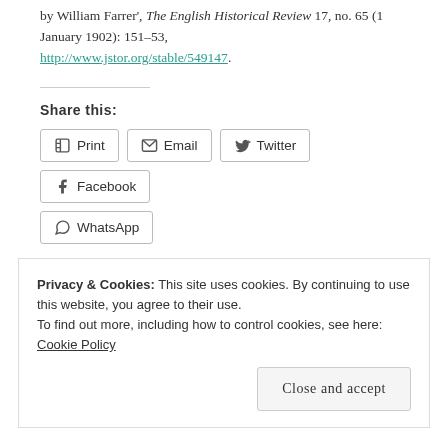by William Farrer', The English Historical Review 17, no. 65 (1 January 1902): 151–53, http://www.jstor.org/stable/549147.
Share this:
Print
Email
Twitter
Facebook
WhatsApp
Like
Be the first to like this.
Privacy & Cookies: This site uses cookies. By continuing to use this website, you agree to their use. To find out more, including how to control cookies, see here: Cookie Policy